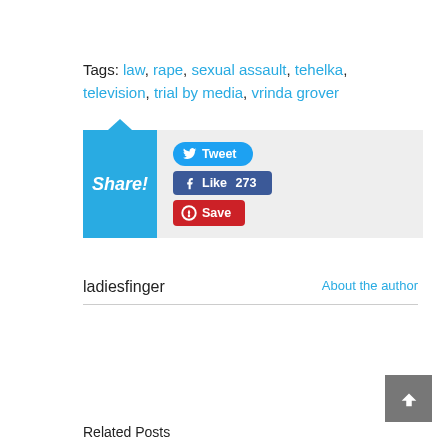Tags: law, rape, sexual assault, tehelka, television, trial by media, vrinda grover
[Figure (infographic): Share block with blue 'Share!' panel and social buttons: Tweet, Like 273, Save]
ladiesfinger   About the author
[Figure (other): Back to top button (grey square with upward chevron)]
Related Posts